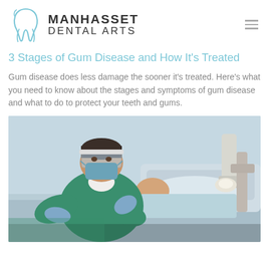MANHASSET DENTAL ARTS
3 Stages of Gum Disease and How It's Treated
Gum disease does less damage the sooner it's treated. Here's what you need to know about the stages and symptoms of gum disease and what to do to protect your teeth and gums.
[Figure (photo): A dentist in green scrubs, face shield, and blue gloves performing a dental procedure on a patient lying in a dental chair in a clinical setting.]